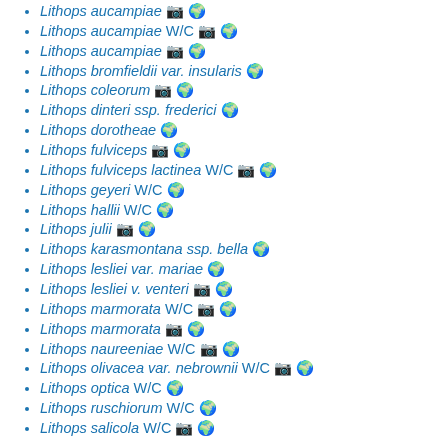Lithops aucampiae 📷 🌍
Lithops aucampiae W/C 📷 🌍
Lithops aucampiae 📷 🌍
Lithops bromfieldii var. insularis 🌍
Lithops coleorum 📷 🌍
Lithops dinteri ssp. frederici 🌍
Lithops dorotheae 🌍
Lithops fulviceps 📷 🌍
Lithops fulviceps lactinea W/C 📷 🌍
Lithops geyeri W/C 🌍
Lithops hallii W/C 🌍
Lithops julii 📷 🌍
Lithops karasmontana ssp. bella 🌍
Lithops lesliei var. mariae 🌍
Lithops lesliei v. venteri 📷 🌍
Lithops marmorata W/C 📷 🌍
Lithops marmorata 📷 🌍
Lithops naureeniae W/C 📷 🌍
Lithops olivacea var. nebrownii W/C 📷 🌍
Lithops optica W/C 🌍
Lithops ruschiorum W/C 🌍
Lithops salicola W/C 📷 🌍